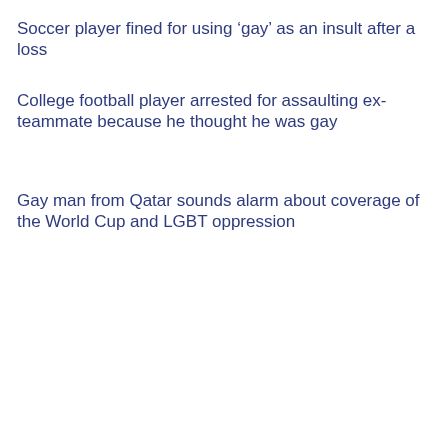Soccer player fined for using ‘gay’ as an insult after a loss
College football player arrested for assaulting ex-teammate because he thought he was gay
Gay man from Qatar sounds alarm about coverage of the World Cup and LGBT oppression